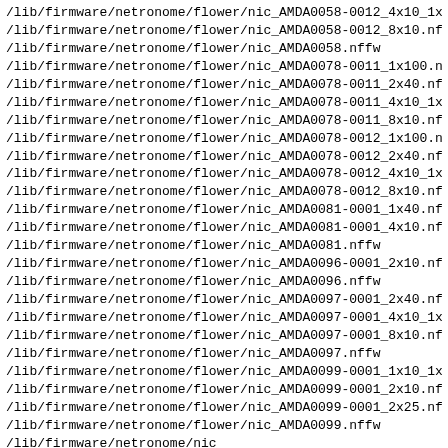/lib/firmware/netronome/flower/nic_AMDA0058-0012_4x10_1x
/lib/firmware/netronome/flower/nic_AMDA0058-0012_8x10.nf
/lib/firmware/netronome/flower/nic_AMDA0058.nffw
/lib/firmware/netronome/flower/nic_AMDA0078-0011_1x100.n
/lib/firmware/netronome/flower/nic_AMDA0078-0011_2x40.nf
/lib/firmware/netronome/flower/nic_AMDA0078-0011_4x10_1x
/lib/firmware/netronome/flower/nic_AMDA0078-0011_8x10.nf
/lib/firmware/netronome/flower/nic_AMDA0078-0012_1x100.n
/lib/firmware/netronome/flower/nic_AMDA0078-0012_2x40.nf
/lib/firmware/netronome/flower/nic_AMDA0078-0012_4x10_1x
/lib/firmware/netronome/flower/nic_AMDA0078-0012_8x10.nf
/lib/firmware/netronome/flower/nic_AMDA0081-0001_1x40.nf
/lib/firmware/netronome/flower/nic_AMDA0081-0001_4x10.nf
/lib/firmware/netronome/flower/nic_AMDA0081.nffw
/lib/firmware/netronome/flower/nic_AMDA0096-0001_2x10.nf
/lib/firmware/netronome/flower/nic_AMDA0096.nffw
/lib/firmware/netronome/flower/nic_AMDA0097-0001_2x40.nf
/lib/firmware/netronome/flower/nic_AMDA0097-0001_4x10_1x
/lib/firmware/netronome/flower/nic_AMDA0097-0001_8x10.nf
/lib/firmware/netronome/flower/nic_AMDA0097.nffw
/lib/firmware/netronome/flower/nic_AMDA0099-0001_1x10_1x
/lib/firmware/netronome/flower/nic_AMDA0099-0001_2x10.nf
/lib/firmware/netronome/flower/nic_AMDA0099-0001_2x25.nf
/lib/firmware/netronome/flower/nic_AMDA0099.nffw
/lib/firmware/netronome/nic
/lib/firmware/netronome/nic-sriov
/lib/firmware/netronome/nic-sriov/nic_AMDA0058-0011_2x40
/lib/firmware/netronome/nic-sriov/nic_AMDA0058-0012_2x40
/lib/firmware/netronome/nic-sriov/nic_AMDA0078-0011_1x100
/lib/firmware/netronome/nic-sriov/nic_AMDA0081-0001_1x40